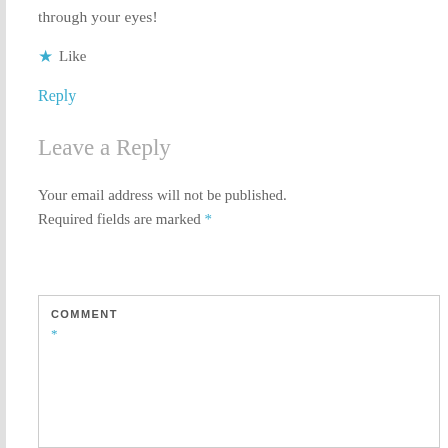through your eyes!
★ Like
Reply
Leave a Reply
Your email address will not be published. Required fields are marked *
COMMENT
*